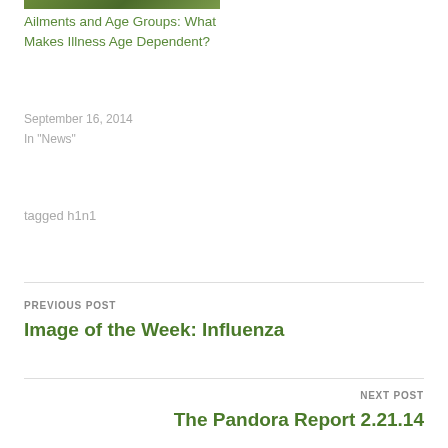[Figure (photo): Small thumbnail image related to ailments and age groups article]
Ailments and Age Groups: What Makes Illness Age Dependent?
September 16, 2014
In "News"
tagged h1n1
PREVIOUS POST
Image of the Week: Influenza
NEXT POST
The Pandora Report 2.21.14